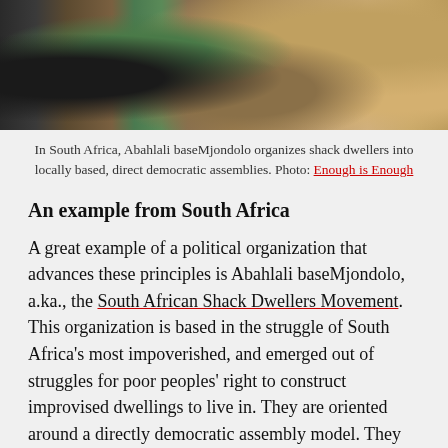[Figure (photo): Photograph of a person near a green tent/tarp on dry ground, South Africa shack dwellers scene]
In South Africa, Abahlali baseMjondolo organizes shack dwellers into locally based, direct democratic assemblies. Photo: Enough is Enough
An example from South Africa
A great example of a political organization that advances these principles is Abahlali baseMjondolo, a.ka., the South African Shack Dwellers Movement. This organization is based in the struggle of South Africa's most impoverished, and emerged out of struggles for poor peoples' right to construct improvised dwellings to live in. They are oriented around a directly democratic assembly model. They regularly engage in direct action through land occupations